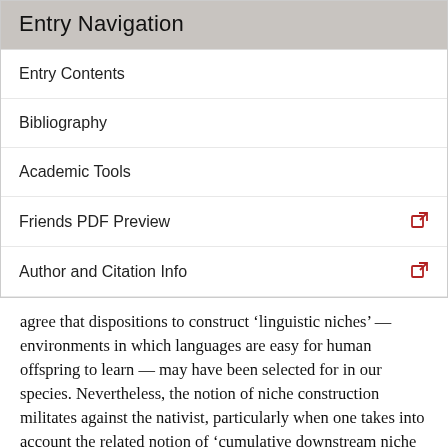Entry Navigation
Entry Contents
Bibliography
Academic Tools
Friends PDF Preview
Author and Citation Info
agree that dispositions to construct ‘linguistic niches’ — environments in which languages are easy for human offspring to learn — may have been selected for in our species. Nevertheless, the notion of niche construction militates against the nativist, particularly when one takes into account the related notion of ‘cumulative downstream niche construction.’
Cases of what Sterelny (2003: 149ff) calls ‘cumulative downstream niche construction’ occur when a generation of animals modifies an environment that has already been